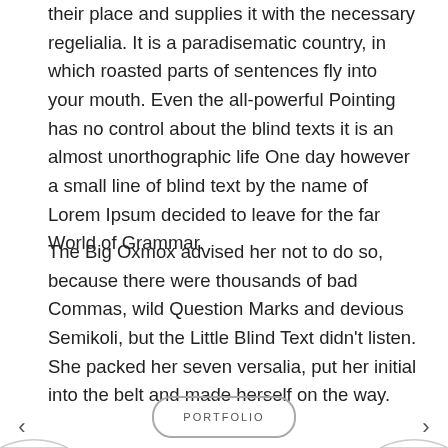their place and supplies it with the necessary regelialia. It is a paradisematic country, in which roasted parts of sentences fly into your mouth. Even the all-powerful Pointing has no control about the blind texts it is an almost unorthographic life One day however a small line of blind text by the name of Lorem Ipsum decided to leave for the far World of Grammar.
The Big Oxmox advised her not to do so, because there were thousands of bad Commas, wild Question Marks and devious Semikoli, but the Little Blind Text didn't listen. She packed her seven versalia, put her initial into the belt and made herself on the way.
PORTFOLIO